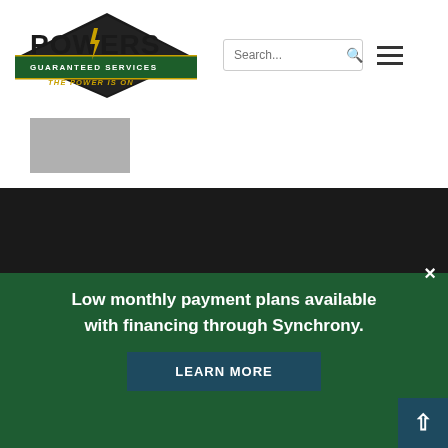[Figure (logo): Powers Guaranteed Services logo with lightning bolt and text 'THE POWER IS ON' on a green/gold badge]
[Figure (screenshot): Search bar input field with placeholder 'Search...' and search icon]
[Figure (illustration): Hamburger menu icon (three horizontal lines)]
[Figure (photo): Gray rectangular thumbnail image]
[Figure (illustration): Dark band footer area]
Low monthly payment plans available with financing through Synchrony.
LEARN MORE